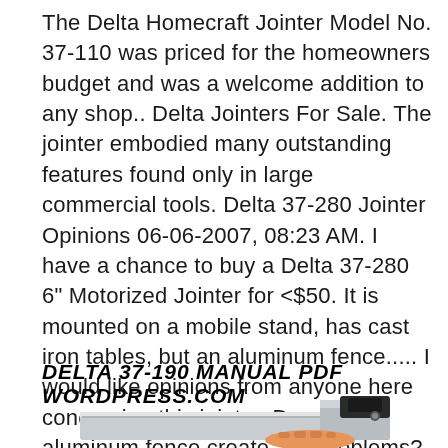The Delta Homecraft Jointer Model No. 37-110 was priced for the homeowners budget and was a welcome addition to any shop.. Delta Jointers For Sale. The jointer embodied many outstanding features found only in large commercial tools. Delta 37-280 Jointer Opinions 06-06-2007, 08:23 AM. I have a chance to buy a Delta 37-280 6" Motorized Jointer for <$50. It is mounted on a mobile stand, has cast iron tables, but an aluminum fence..... I would like opinions from anyone here concerning this jointer. Does the aluminum fence create any problems?
DELTA 37-190 MANUAL PDF WORDPRESS.COM
[Figure (photo): Partial photo of a jointer machine showing the table surface and a hand operating it]